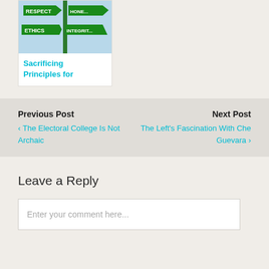[Figure (photo): Street sign post with green signs reading RESPECT, HONESTY, ETHICS, INTEGRITY against a blue sky]
Sacrificing Principles for
Previous Post
‹ The Electoral College Is Not Archaic
Next Post
The Left's Fascination With Che Guevara ›
Leave a Reply
Enter your comment here...